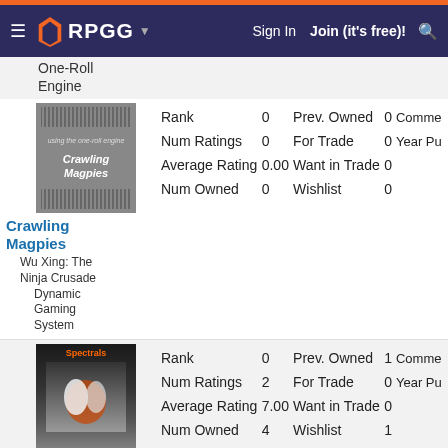RPGG — Sign In  Join (it's free)!
One-Roll Engine
| Stat | Value | Stat | Value | Extra |
| --- | --- | --- | --- | --- |
| Rank | 0 | Prev. Owned | 0 | Comme… |
| Num Ratings | 0 | For Trade | 0 | Year Pu… |
| Average Rating | 0.00 | Want in Trade | 0 |  |
| Num Owned | 0 | Wishlist | 0 |  |
Crawling Magpies
Wu Xing: The Ninja Crusade
Dynamic Gaming System
| Stat | Value | Stat | Value | Extra |
| --- | --- | --- | --- | --- |
| Rank | 0 | Prev. Owned | 1 | Comme… |
| Num Ratings | 2 | For Trade | 0 | Year Pu… |
| Average Rating | 7.00 | Want in Trade | 0 |  |
| Num Owned | 4 | Wishlist | 1 |  |
Demon Codex: Spectrals
Apocalypse Prevention, Inc.
Dynamic